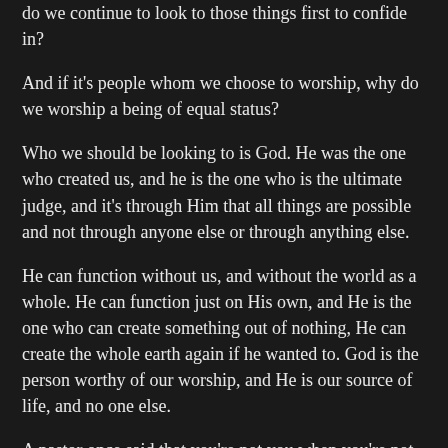do we continue to look to those things first to confide in?
And if it's people whom we choose to worship, why do we worship a being of equal status?
Who we should be looking to is God. He was the one who created us, and he is the one who is the ultimate judge, and it's through Him that all things are possible and not through anyone else or through anything else.
He can function without us, and without the world as a whole. He can function just on His own, and He is the one who can create something out of nothing, He can create the whole earth again if he wanted to. God is the person worthy of our worship, and He is our source of life, and no one else.
A pastor once said that you're not you when you're not plugged into the source of life.
I know a few friends who become different people under